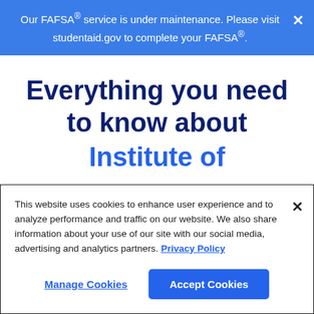Our FAFSA® service is under maintenance. Please visit studentaid.gov to complete your FAFSA®.
Everything you need to know about Institute of
This website uses cookies to enhance user experience and to analyze performance and traffic on our website. We also share information about your use of our site with our social media, advertising and analytics partners. Privacy Policy
Manage Cookies | Accept Cookies